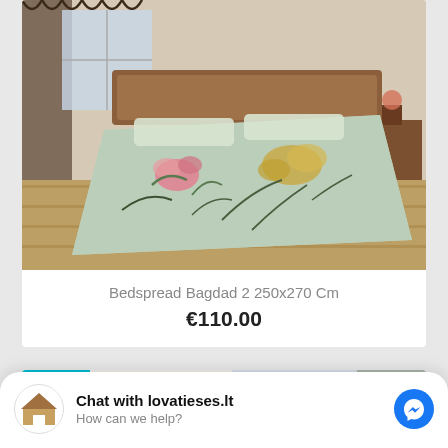[Figure (photo): Bedroom photo showing a bed with a floral light blue bedspread with pink and yellow flowers, wooden headboard, parquet floor, curtains in background]
Bedspread Bagdad 2 250x270 Cm
€110.00
[Figure (photo): NEW badge overlay on a room photo showing framed wall art with purple flowers, blinds and window]
Chat with lovatieses.lt
How can we help?